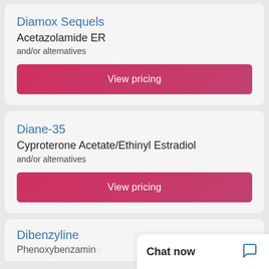Diamox Sequels
Acetazolamide ER
and/or alternatives
View pricing
Diane-35
Cyproterone Acetate/Ethinyl Estradiol
and/or alternatives
View pricing
Dibenzyline
Phenoxybenzamine
Chat now